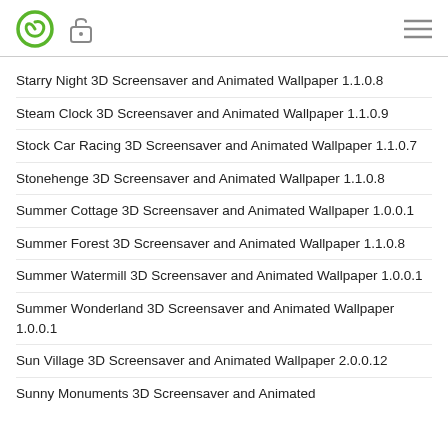Starry Night 3D Screensaver and Animated Wallpaper 1.1.0.8
Steam Clock 3D Screensaver and Animated Wallpaper 1.1.0.9
Stock Car Racing 3D Screensaver and Animated Wallpaper 1.1.0.7
Stonehenge 3D Screensaver and Animated Wallpaper 1.1.0.8
Summer Cottage 3D Screensaver and Animated Wallpaper 1.0.0.1
Summer Forest 3D Screensaver and Animated Wallpaper 1.1.0.8
Summer Watermill 3D Screensaver and Animated Wallpaper 1.0.0.1
Summer Wonderland 3D Screensaver and Animated Wallpaper 1.0.0.1
Sun Village 3D Screensaver and Animated Wallpaper 2.0.0.12
Sunny Monuments 3D Screensaver and Animated